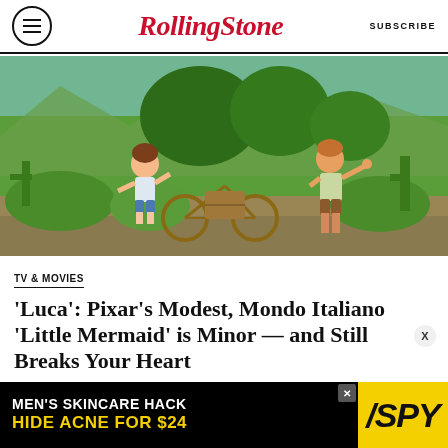Rolling Stone | SUBSCRIBE
[Figure (illustration): Scene from Pixar's animated film Luca showing two cartoon boy characters — one with curly brown hair holding a makeshift bicycle, another taller boy giving a thumbs up — in a lush green outdoor Italian setting with cacti and trees in the background.]
TV & MOVIES
‘Luca’: Pixar’s Modest, Mondo Italiano ‘Little Mermaid’ is Minor — and Still Breaks Your Heart
[Figure (infographic): Advertisement banner for SPY brand reading: MEN'S SKINCARE HACK HIDE ACNE FOR $24]